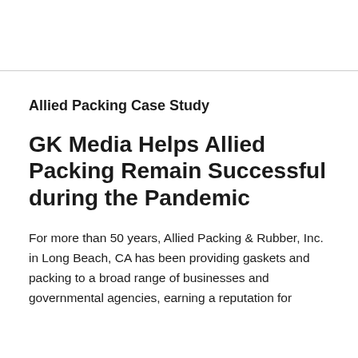Allied Packing Case Study
GK Media Helps Allied Packing Remain Successful during the Pandemic
For more than 50 years, Allied Packing & Rubber, Inc. in Long Beach, CA has been providing gaskets and packing to a broad range of businesses and governmental agencies, earning a reputation for